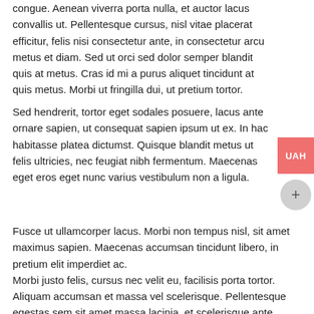congue. Aenean viverra porta nulla, et auctor lacus convallis ut. Pellentesque cursus, nisl vitae placerat efficitur, felis nisi consectetur ante, in consectetur arcu metus et diam. Sed ut orci sed dolor semper blandit quis at metus. Cras id mi a purus aliquet tincidunt at quis metus. Morbi ut fringilla dui, ut pretium tortor.
Sed hendrerit, tortor eget sodales posuere, lacus ante ornare sapien, ut consequat sapien ipsum ut ex. In hac habitasse platea dictumst. Quisque blandit metus ut felis ultricies, nec feugiat nibh fermentum. Maecenas eget eros eget nunc varius vestibulum non a ligula.
Fusce ut ullamcorper lacus. Morbi non tempus nisl, sit amet maximus sapien. Maecenas accumsan tincidunt libero, in pretium elit imperdiet ac. Morbi justo felis, cursus nec velit eu, facilisis porta tortor. Aliquam accumsan et massa vel scelerisque. Pellentesque egestas sem sit amet massa lacinia, et scelerisque ante lobortis.